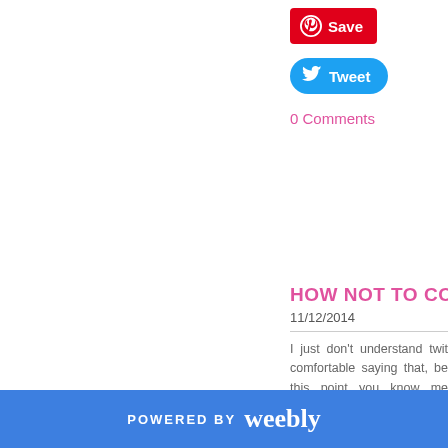[Figure (other): Pinterest Save button (red rounded rectangle with Pinterest logo and 'Save' text)]
[Figure (other): Twitter Tweet button (blue pill-shaped button with Twitter bird icon and 'Tweet' text)]
0 Comments
HOW NOT TO CO...
11/12/2014
I just don't understand twit... comfortable saying that, be... this point you know me... understand technology. F... reason I have firmly gra... concept of tumblr, maybe... but I got this. Steadily grow... followers occasionally ... something that gets twenty... an hour. You know doing go...
POWERED BY weebly